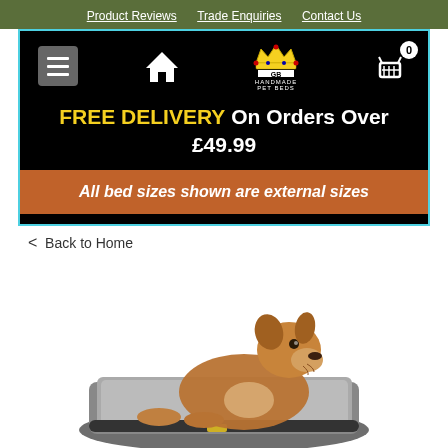Product Reviews   Trade Enquiries   Contact Us
[Figure (screenshot): GB Handmade Pet Beds website header with hamburger menu, home icon, GB crown logo, and cart icon (0 items). Black background with teal border.]
FREE DELIVERY On Orders Over £49.99
All bed sizes shown are external sizes
< Back to Home
[Figure (photo): A boxer dog lying on a flat grey dog bed/mat with a dark border, on a white background. The dog is looking at the camera.]